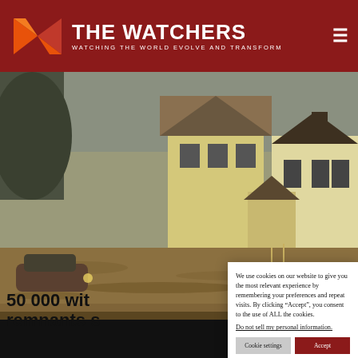THE WATCHERS — WATCHING THE WORLD EVOLVE AND TRANSFORM
[Figure (photo): Flooded residential street with houses partially submerged in floodwater, a car visible in the water on the left side]
50 000 wit... remnants s...
We use cookies on our website to give you the most relevant experience by remembering your preferences and repeat visits. By clicking “Accept”, you consent to the use of ALL the cookies.
Do not sell my personal information.